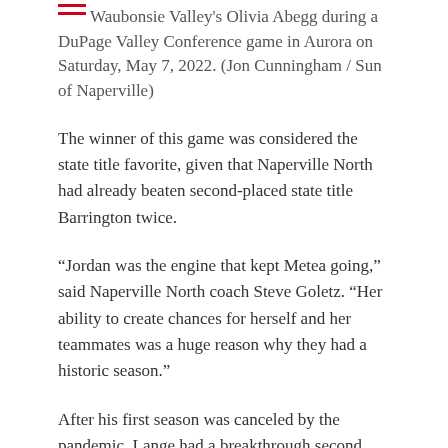Waubonsie Valley's Olivia Abegg during a DuPage Valley Conference game in Aurora on Saturday, May 7, 2022. (Jon Cunningham / Sun of Naperville)
The winner of this game was considered the state title favorite, given that Naperville North had already beaten second-placed state title Barrington twice.
“Jordan was the engine that kept Metea going,” said Naperville North coach Steve Goletz. “Her ability to create chances for herself and her teammates was a huge reason why they had a historic season.”
After his first season was canceled by the pandemic, Lange had a breakthrough second year, scoring 10 goals and contributing 13 assists.